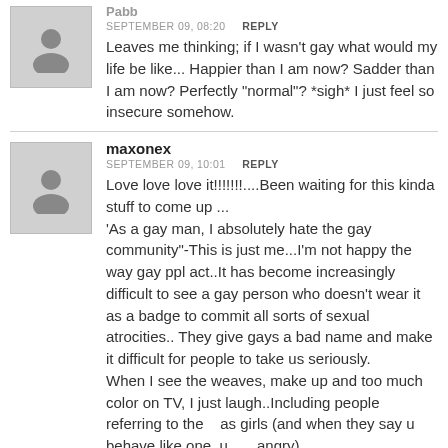Pabb
SEPTEMBER 09, 08:20  REPLY
Leaves me thinking; if I wasn't gay what would my life be like... Happier than I am now? Sadder than I am now? Perfectly "normal"? *sigh* I just feel so insecure somehow.
maxonex
SEPTEMBER 09, 10:01  REPLY
Love love love it!!!!!!!....Been waiting for this kinda stuff to come up ...
'As a gay man, I absolutely hate the gay community"-This is just me...I'm not happy the way gay ppl act..It has become increasingly difficult to see a gay person who doesn't wear it as a badge to commit all sorts of sexual atrocities.. They give gays a bad name and make it difficult for people to take us seriously.
When I see the weaves, make up and too much color on TV, I just laugh..Including people referring to them as girls (and when they say u behave like one, u angry).
Flamboyant t-shirts etc...People who made an impact in American gay community are the very respectable ones,